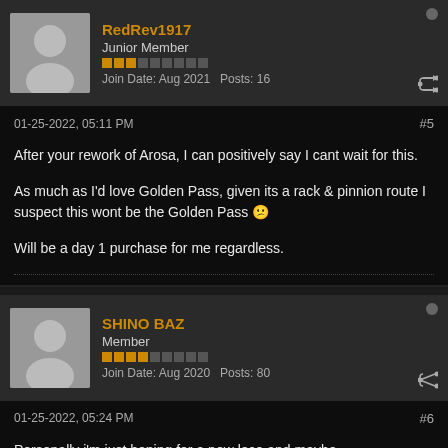RedRev1917
Junior Member
Join Date: Aug 2021  Posts: 16
01-25-2022, 05:11 PM
#5
After your rework of Arosa, I can positively say I cant wait for this.

As much as I'd love Golden Pass, given its a rack & pinnion route I suspect this wont be the Golden Pass 😕

Will be a day 1 purchase for me regardless.
SHINO BAZ
Member
Join Date: Aug 2020  Posts: 80
01-25-2022, 05:24 PM
#6
Personally i'm just hoping for a new loco and maybe